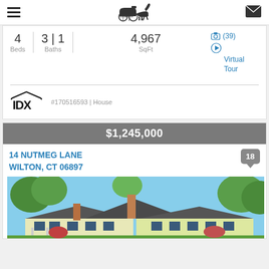Navigation bar with hamburger menu, horse-and-carriage logo, and mail icon
4 Beds | 3|1 Baths | 4,967 SqFt
(39) Virtual Tour
[Figure (logo): IDX logo with stylized roof/house above lettering]
#170516593 | House
$1,245,000
14 NUTMEG LANE
WILTON, CT 06897
[Figure (photo): Exterior photo of a colonial-style house with green trees and blue sky]